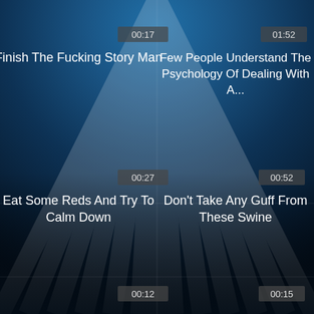[Figure (screenshot): Video thumbnail grid with 4 visible panels on dark blue radial background with light ray pattern. Top-left: '00:17' badge, title 'Finish The Fucking Story Man'. Top-right: '01:52' badge, title 'Few People Understand The Psychology Of Dealing With A...'. Bottom-left: '00:27' badge, title 'Eat Some Reds And Try To Calm Down'. Bottom-right: '00:52' badge, title 'Don't Take Any Guff From These Swine'. Partial bottom row shows '00:12' and '00:15' badges.]